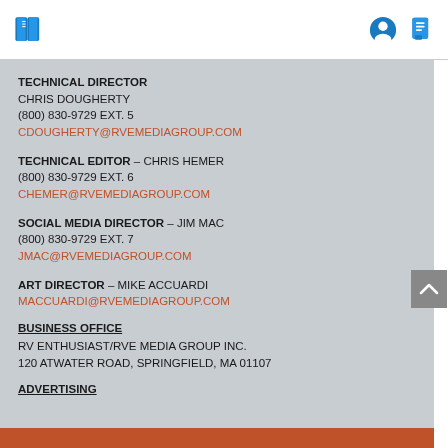TECHNICAL DIRECTOR
CHRIS DOUGHERTY
(800) 830-9729 EXT. 5
CDOUGHERTY@RVEMEDIAGROUP.COM
TECHNICAL EDITOR – CHRIS HEMER
(800) 830-9729 EXT. 6
CHEMER@RVEMEDIAGROUP.COM
SOCIAL MEDIA DIRECTOR – JIM MAC
(800) 830-9729 EXT. 7
JMAC@RVEMEDIAGROUP.COM
ART DIRECTOR – MIKE ACCUARDI
MACCUARDI@RVEMEDIAGROUP.COM
BUSINESS OFFICE
RV ENTHUSIAST/RVE MEDIA GROUP INC.
120 ATWATER ROAD, SPRINGFIELD, MA 01107
ADVERTISING